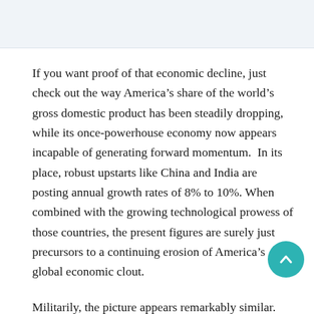If you want proof of that economic decline, just check out the way America’s share of the world’s gross domestic product has been steadily dropping, while its once-powerhouse economy now appears incapable of generating forward momentum.  In its place, robust upstarts like China and India are posting annual growth rates of 8% to 10%.  When combined with the growing technological prowess of those countries, the present figures are surely just precursors to a continuing erosion of America’s global economic clout.
Militarily, the picture appears remarkably similar.  Yes, a crack team of SEAL commandos did kill Osama bin Laden, but that single operation — greeted in the United States with a jubilation more appropriate to the ending of a major war — hardly made up for the military’s lackluster performance in two recent wars against ragtag insurgencies in Iraq and